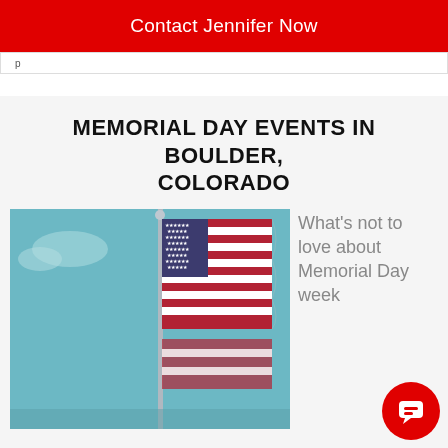Contact Jennifer Now
MEMORIAL DAY EVENTS IN BOULDER, COLORADO
[Figure (photo): American flag on a flagpole against a teal/blue sky background]
What's not to love about Memorial Day week